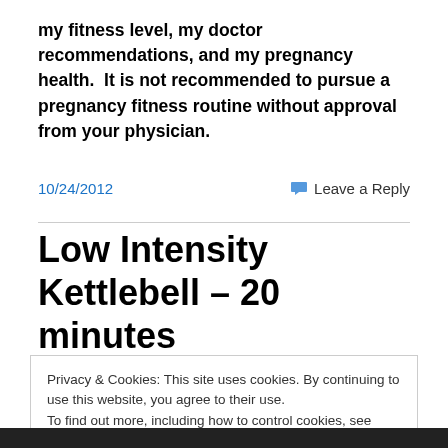my fitness level, my doctor recommendations, and my pregnancy health.  It is not recommended to pursue a pregnancy fitness routine without approval from your physician.
10/24/2012    Leave a Reply
Low Intensity Kettlebell – 20 minutes
Privacy & Cookies: This site uses cookies. By continuing to use this website, you agree to their use.
To find out more, including how to control cookies, see here: Cookie Policy
Close and accept